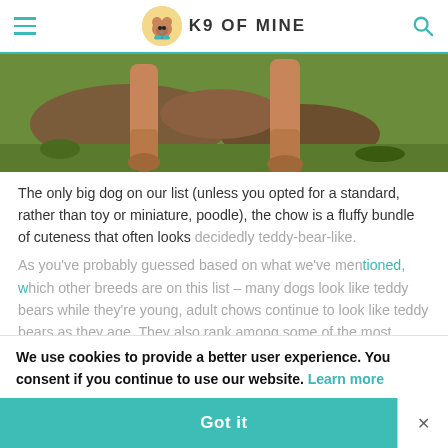K9 OF MINE
[Figure (photo): Close-up photo of a fluffy dog's legs and paws walking on grass and dirt ground]
The only big dog on our list (unless you opted for a standard, rather than toy or miniature, poodle), the chow is a fluffy bundle of cuteness that often looks decidedly teddy-bear-like.
As you've probably guessed based on what we've mentioned, which other breeds are on this list – many dogs look like teddy bears while they're young, adult chows continue to look like teddy bears as they age. They also rank among some of the most teddy-bear-
We use cookies to provide a better user experience. You consent if you continue to use our website. Learn more
Got it